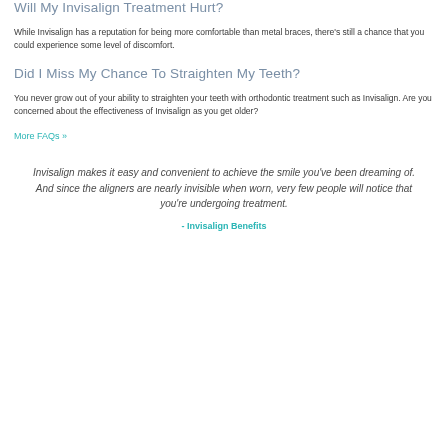Will My Invisalign Treatment Hurt?
While Invisalign has a reputation for being more comfortable than metal braces, there's still a chance that you could experience some level of discomfort.
Did I Miss My Chance To Straighten My Teeth?
You never grow out of your ability to straighten your teeth with orthodontic treatment such as Invisalign. Are you concerned about the effectiveness of Invisalign as you get older?
More FAQs »
Invisalign makes it easy and convenient to achieve the smile you've been dreaming of. And since the aligners are nearly invisible when worn, very few people will notice that you're undergoing treatment.
- Invisalign Benefits